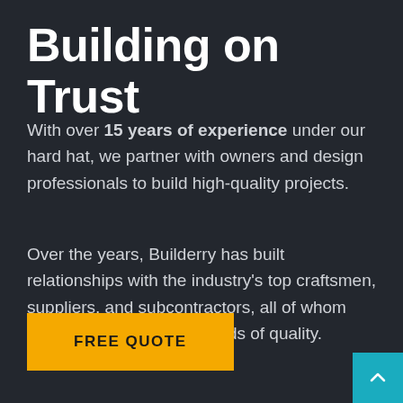Building on Trust
With over 15 years of experience under our hard hat, we partner with owners and design professionals to build high-quality projects.
Over the years, Builderry has built relationships with the industry's top craftsmen, suppliers, and subcontractors, all of whom adhere to our high standards of quality.
FREE QUOTE